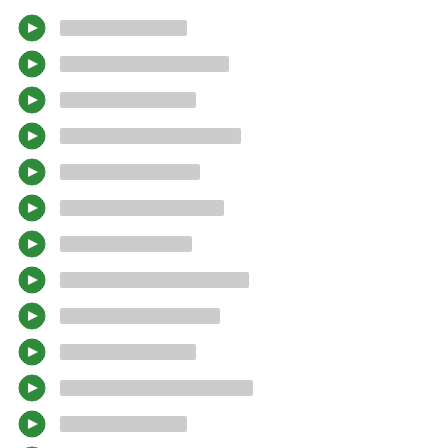[redacted item 1]
[redacted item 2]
[redacted item 3]
[redacted item 4]
[redacted item 5]
[redacted item 6]
[redacted item 7]
[redacted item 8]
[redacted item 9]
[redacted item 10]
[redacted item 11]
[redacted item 12]
[redacted item 13]